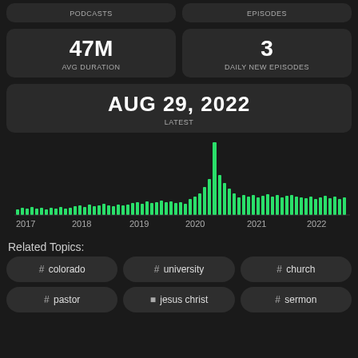PODCASTS
EPISODES
47M AVG DURATION
3 DAILY NEW EPISODES
AUG 29, 2022 LATEST
[Figure (bar-chart): Episodes over time 2017-2022]
Related Topics:
# colorado
# university
# church
# pastor
jesus christ
# sermon